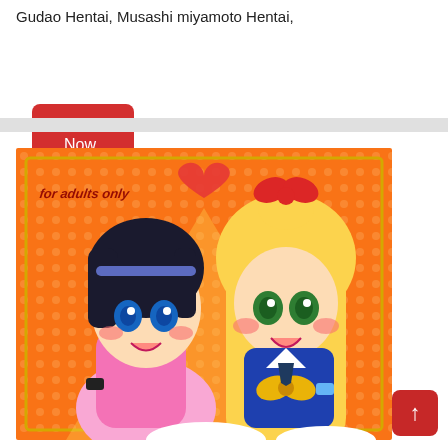Gudao Hentai, Musashi miyamoto Hentai,
[Figure (illustration): Anime-style illustration of two young girls in colorful outfits on an orange dotted background. Text overlay reads 'for adults only'. One girl has black hair and blue eyes wearing pink, the other has long blonde hair and green eyes wearing blue with a yellow bow.]
[Figure (other): Red rounded square button with white upward arrow, positioned bottom right as a scroll-to-top button.]